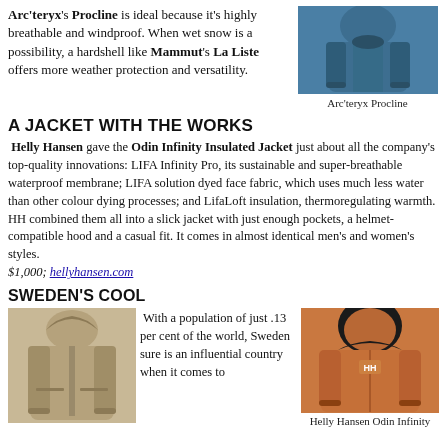Arc'teryx's Procline is ideal because it's highly breathable and windproof. When wet snow is a possibility, a hardshell like Mammut's La Liste offers more weather protection and versatility.
[Figure (photo): Photo of Arc'teryx Procline jacket in teal/blue color]
Arc'teryx Procline
A JACKET WITH THE WORKS
Helly Hansen gave the Odin Infinity Insulated Jacket just about all the company's top-quality innovations: LIFA Infinity Pro, its sustainable and super-breathable waterproof membrane; LIFA solution dyed face fabric, which uses much less water than other colour dying processes; and LifaLoft insulation, thermoregulating warmth. HH combined them all into a slick jacket with just enough pockets, a helmet-compatible hood and a casual fit. It comes in almost identical men's and women's styles. $1,000; hellyhansen.com
SWEDEN'S COOL
[Figure (photo): Photo of a tan/beige outdoor jacket with hood]
With a population of just .13 per cent of the world, Sweden sure is an influential country when it comes to
[Figure (photo): Photo of Helly Hansen Odin Infinity insulated jacket in orange/rust color, shown from back with hood up]
Helly Hansen Odin Infinity